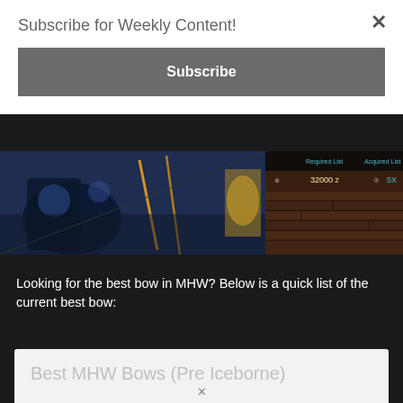Subscribe for Weekly Content!
Subscribe
[Figure (screenshot): Game screenshot showing Monster Hunter World bow gameplay with crafting/weapon upgrade UI panels]
Looking for the best bow in MHW? Below is a quick list of the current best bow:
Best MHW Bows (Pre Iceborne)